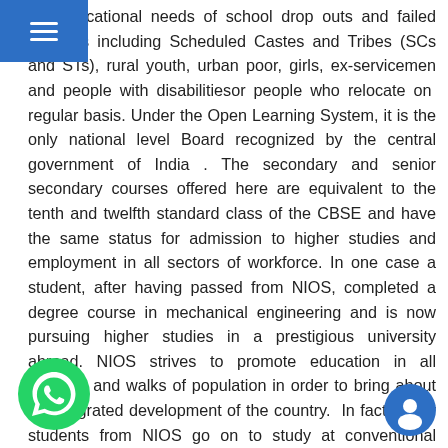☰
the educational needs of school drop outs and failed students including Scheduled Castes and Tribes (SCs and STs), rural youth, urban poor, girls, ex-servicemen and people with disabilitiesor people who relocate on regular basis. Under the Open Learning System, it is the only national level Board recognized by the central government of India . The secondary and senior secondary courses offered here are equivalent to the tenth and twelfth standard class of the CBSE and have the same status for admission to higher studies and employment in all sectors of workforce. In one case a student, after having passed from NIOS, completed a degree course in mechanical engineering and is now pursuing higher studies in a prestigious university abroad. NIOS strives to promote education in all sections and walks of population in order to bring about an integrated development of the country. In fact, many students from NIOS go on to study at conventional schools and colleges including the prestigious Indian Institutes of Technology (IITs) and Indian Institute of Mamagement (IIMs).
[Figure (illustration): WhatsApp chat icon - green circle with white phone handset]
[Figure (illustration): Small circular icon at bottom right]